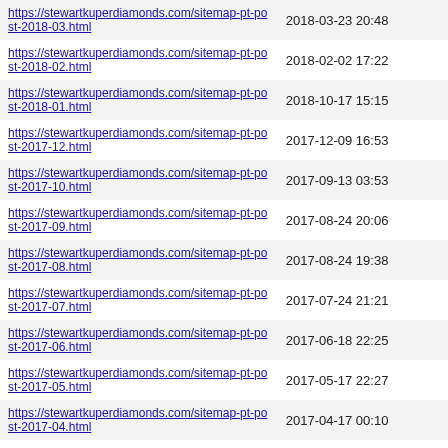| URL | Last Modified |
| --- | --- |
| https://stewartkuperdiamonds.com/sitemap-pt-post-2018-03.html | 2018-03-23 20:48 |
| https://stewartkuperdiamonds.com/sitemap-pt-post-2018-02.html | 2018-02-02 17:22 |
| https://stewartkuperdiamonds.com/sitemap-pt-post-2018-01.html | 2018-10-17 15:15 |
| https://stewartkuperdiamonds.com/sitemap-pt-post-2017-12.html | 2017-12-09 16:53 |
| https://stewartkuperdiamonds.com/sitemap-pt-post-2017-10.html | 2017-09-13 03:53 |
| https://stewartkuperdiamonds.com/sitemap-pt-post-2017-09.html | 2017-08-24 20:06 |
| https://stewartkuperdiamonds.com/sitemap-pt-post-2017-08.html | 2017-08-24 19:38 |
| https://stewartkuperdiamonds.com/sitemap-pt-post-2017-07.html | 2017-07-24 21:21 |
| https://stewartkuperdiamonds.com/sitemap-pt-post-2017-06.html | 2017-06-18 22:25 |
| https://stewartkuperdiamonds.com/sitemap-pt-post-2017-05.html | 2017-05-17 22:27 |
| https://stewartkuperdiamonds.com/sitemap-pt-post-2017-04.html | 2017-04-17 00:10 |
| https://stewartkuperdiamonds.com/sitemap-pt-post-2017-03.html | 2017-03-19 17:52 |
| https://stewartkuperdiamonds.com/sitemap-pt-post-2017- |  |